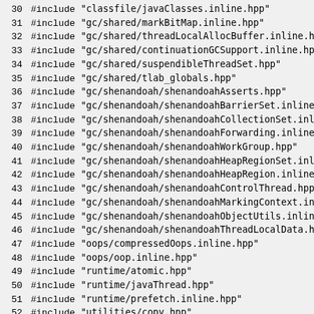Source code listing lines 30-59, C++ header includes and inline function definitions for ShenandoahHeap